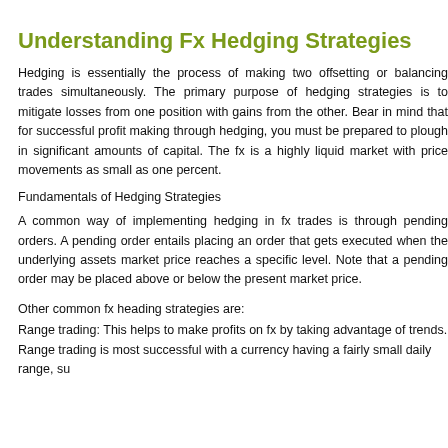Understanding Fx Hedging Strategies
Hedging is essentially the process of making two offsetting or balancing trades simultaneously. The primary purpose of hedging strategies is to mitigate losses from one position with gains from the other. Bear in mind that for successful profit making through hedging, you must be prepared to plough in significant amounts of capital. The fx is a highly liquid market with price movements as small as one percent.
Fundamentals of Hedging Strategies
A common way of implementing hedging in fx trades is through pending orders. A pending order entails placing an order that gets executed when the underlying assets market price reaches a specific level. Note that a pending order may be placed above or below the present market price.
Other common fx heading strategies are:
Range trading: This helps to make profits on fx by taking advantage of trends. Range trading is most successful with a currency having a fairly small daily range, su